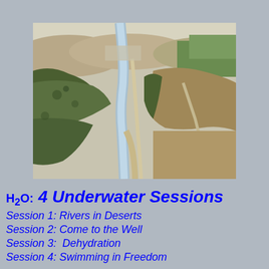[Figure (photo): Aerial photograph of a winding river or irrigation canal cutting through agricultural land and desert terrain, with green vegetation on both sides and dry hills in the background.]
H2O: 4 Underwater Sessions
Session 1: Rivers in Deserts
Session 2: Come to the Well
Session 3:  Dehydration
Session 4: Swimming in Freedom